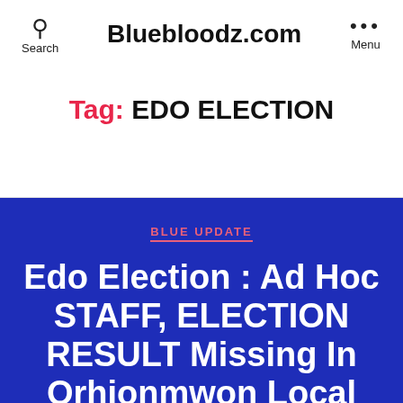Bluebloodz.com
Tag: EDO ELECTION
BLUE UPDATE
Edo Election : Ad Hoc STAFF, ELECTION RESULT Missing In Orhionmwon Local Government Area of Ed…